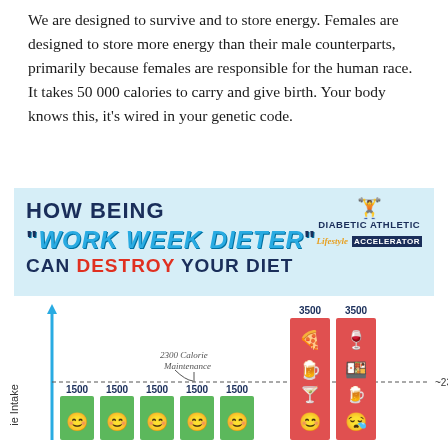We are designed to survive and to store energy. Females are designed to store more energy than their male counterparts, primarily because females are responsible for the human race. It takes 50 000 calories to carry and give birth. Your body knows this, it's wired in your genetic code.
[Figure (infographic): Infographic banner: HOW BEING "WORK WEEK DIETER" CAN DESTROY YOUR DIET with Diabetic Athletic Lifestyle Accelerator logo]
[Figure (bar-chart): Bar chart showing 1500 calories Mon-Fri (green bars with happy face emoji) and 3500 calories Sat-Sun (red bars with food/drink emojis), with ~2300 calorie maintenance line dotted across]